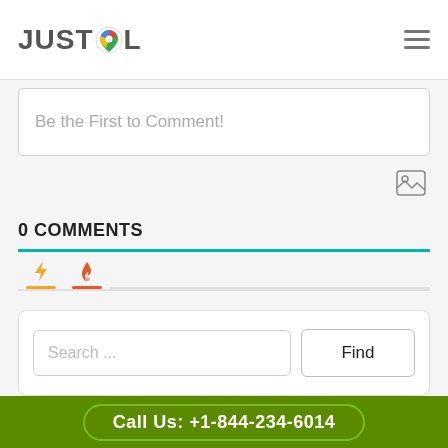JUSTCOL
Be the First to Comment!
0 COMMENTS
Search ...
Find
Call Us: +1-844-234-6014